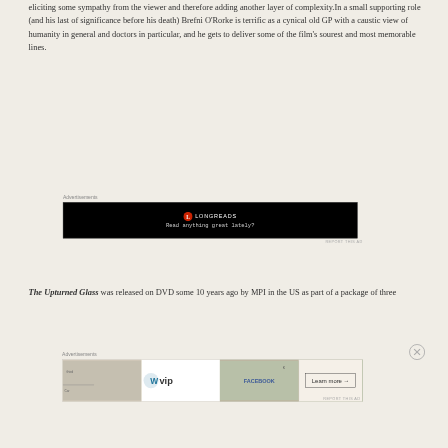eliciting some sympathy from the viewer and therefore adding another layer of complexity.In a small supporting role (and his last of significance before his death) Brefni O'Rorke is terrific as a cynical old GP with a caustic view of humanity in general and doctors in particular, and he gets to deliver some of the film's sourest and most memorable lines.
[Figure (other): Advertisement banner: Longreads logo (red circle with L) and text 'LONGREADS' with tagline 'Read anything great lately?' on black background]
The Upturned Glass was released on DVD some 10 years ago by MPI in the US as part of a package of three
[Figure (other): Advertisement banner: WordPress VIP logo on left, map/Facebook imagery in center, 'Learn more →' button on right]